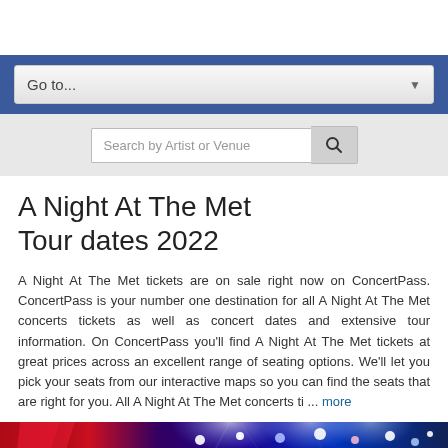Go to...
Search by Artist or Venue
A Night At The Met Tour dates 2022
A Night At The Met tickets are on sale right now on ConcertPass. ConcertPass is your number one destination for all A Night At The Met concerts tickets as well as concert dates and extensive tour information. On ConcertPass you'll find A Night At The Met tickets at great prices across an excellent range of seating options. We'll let you pick your seats from our interactive maps so you can find the seats that are right for you. All A Night At The Met concerts ti ... more
[Figure (photo): Stage photo with red and blue laser lights and spotlights at a concert venue]